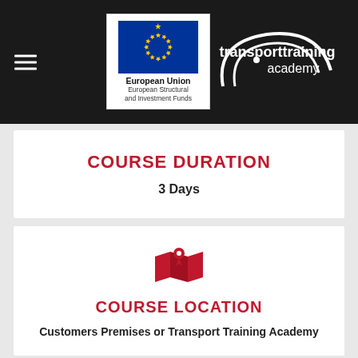[Figure (logo): Header bar with hamburger menu, European Union European Structural and Investment Funds logo, and Transport Training Academy logo on dark background]
COURSE DURATION
3 Days
[Figure (illustration): Red map/location pin icon]
COURSE LOCATION
Customers Premises or Transport Training Academy